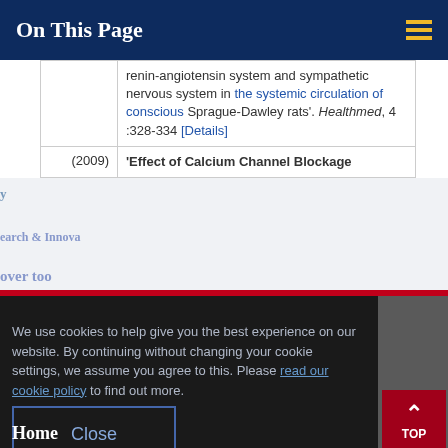On This Page
renin-angiotensin system and sympathetic nervous system in the systemic circulation of conscious Sprague-Dawley rats'. Healthmed, 4 :328-334 [Details]
(2009) 'Effect of Calcium Channel Blockage...
ools & Departments
We use cookies to help give you the best experience on our website. By continuing without changing your cookie settings, we assume you agree to this. Please read our cookie policy to find out more.
iness & Enterprise
mni & Development
Close
Home